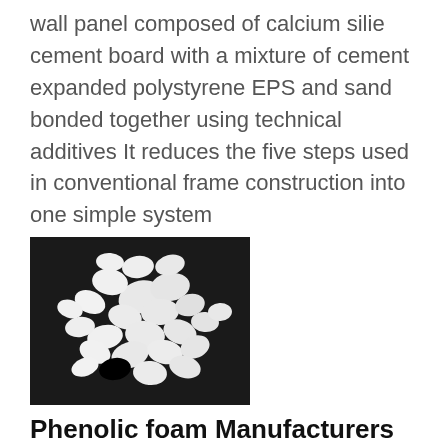wall panel composed of calcium silie cement board with a mixture of cement expanded polystyrene EPS and sand bonded together using technical additives It reduces the five steps used in conventional frame construction into one simple system
[Figure (photo): Black and white photograph showing scattered white EPS (expanded polystyrene) beads/granules on a dark background]
Phenolic foam Manufacturers Suppliers China phenolic
phenolic foam manufacturer/supplier China phenolic foam manufacturer factory list find qualified Chinese phenolic foam manufacturers suppliers factories exporters wholesalers quickly on